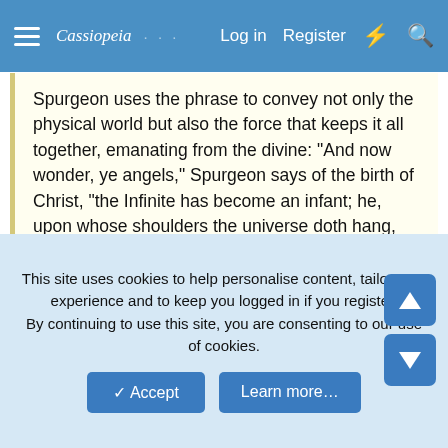Cassiopeia | Log in | Register
Spurgeon uses the phrase to convey not only the physical world but also the force that keeps it all together, emanating from the divine: "And now wonder, ye angels," Spurgeon says of the birth of Christ, "the Infinite has become an infant; he, upon whose shoulders the universe doth hang, hangs at his mother's breast; He who created all things, and bears up the pillars of creation, hath now become so weak, that He must be carried by a woman!"
Do you mean Charles Spurgeon? It is almost a rhetorical question. Are you a Reformed Baptist?
Cleopatra VII
This site uses cookies to help personalise content, tailor your experience and to keep you logged in if you register.
By continuing to use this site, you are consenting to our use of cookies.
Accept
Learn more...